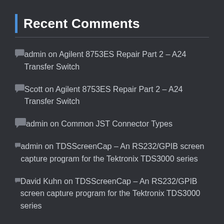Recent Comments
admin on Agilent 8753ES Repair Part 2 – A24 Transfer Switch
Scott on Agilent 8753ES Repair Part 2 – A24 Transfer Switch
admin on Common JST Connector Types
admin on TDSScreenCap – An RS232/GPIB screen capture program for the Tektronix TDS3000 series
David Kuhn on TDSScreenCap – An RS232/GPIB screen capture program for the Tektronix TDS3000 series